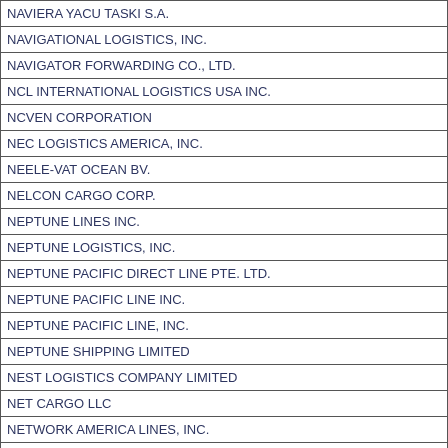| NAVIERA YACU TASKI S.A. |
| NAVIGATIONAL LOGISTICS, INC. |
| NAVIGATOR FORWARDING CO., LTD. |
| NCL INTERNATIONAL LOGISTICS USA INC. |
| NCVEN CORPORATION |
| NEC LOGISTICS AMERICA, INC. |
| NEELE-VAT OCEAN BV. |
| NELCON CARGO CORP. |
| NEPTUNE LINES INC. |
| NEPTUNE LOGISTICS, INC. |
| NEPTUNE PACIFIC DIRECT LINE PTE. LTD. |
| NEPTUNE PACIFIC LINE INC. |
| NEPTUNE PACIFIC LINE, INC. |
| NEPTUNE SHIPPING LIMITED |
| NEST LOGISTICS COMPANY LIMITED |
| NET CARGO LLC |
| NETWORK AMERICA LINES, INC. |
| NETWORK SHIPPING LTD. |
| NEW CHAIN LOGISTICS CO., LIMITED |
| NEW ENGLAND GROUPAGE INC. |
| NEW K.S.A.L. INC. |